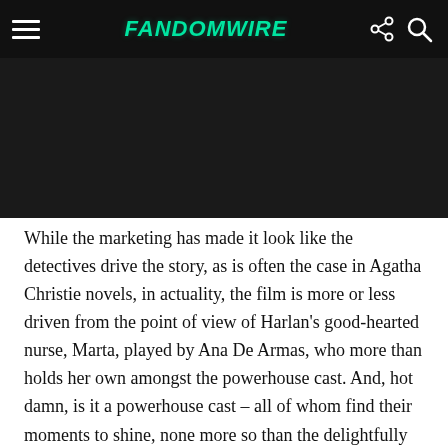FandomWire
[Figure (other): Dark background image area below the FandomWire navigation header]
While the marketing has made it look like the detectives drive the story, as is often the case in Agatha Christie novels, in actuality, the film is more or less driven from the point of view of Harlan's good-hearted nurse, Marta, played by Ana De Armas, who more than holds her own amongst the powerhouse cast. And, hot damn, is it a powerhouse cast – all of whom find their moments to shine, none more so than the delightfully